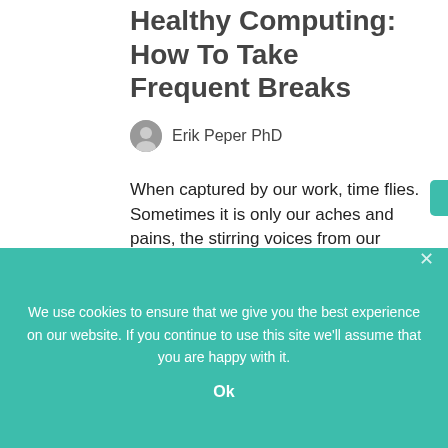Healthy Computing: How To Take Frequent Breaks
Erik Peper PhD
When captured by our work, time flies. Sometimes it is only our aches and pains, the stirring voices from our body, that tell us we need to move. Even with the best intentions we forget to take micro-breaks or large movement breaks.
[Figure (photo): Sky photo with a dark rounded badge reading SEP 18]
We use cookies to ensure that we give you the best experience on our website. If you continue to use this site we'll assume that you are happy with it.
Ok